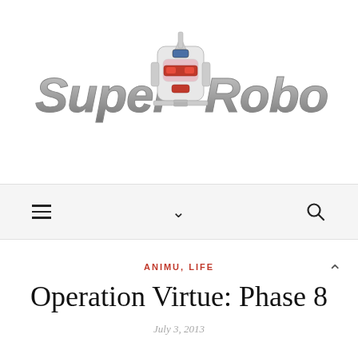[Figure (logo): Super Robo logo with stylized italic text 'Super Robo' in silver/gray with a Gundam robot head mascot in the center]
[Figure (infographic): Navigation bar with hamburger menu icon on left, chevron/dropdown icon in center, and search (magnifying glass) icon on right, on a light gray background]
ANIMU, LIFE
Operation Virtue: Phase 8
July 3, 2013